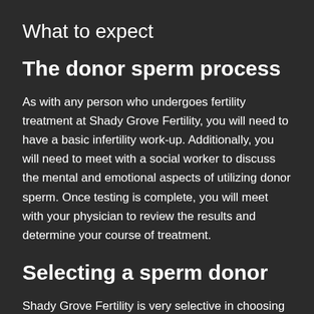What to expect
The donor sperm process
As with any person who undergoes fertility treatment at Shady Grove Fertility, you will need to have a basic infertility work-up. Additionally, you will need to meet with a social worker to discuss the mental and emotional aspects of utilizing donor sperm. Once testing is complete, you will meet with your physician to review the results and determine your course of treatment.
Selecting a sperm donor
Shady Grove Fertility is very selective in choosing which cryobank to refer patients. For each of the sperm banks we recommend, all sperm donors go through a rigorous course